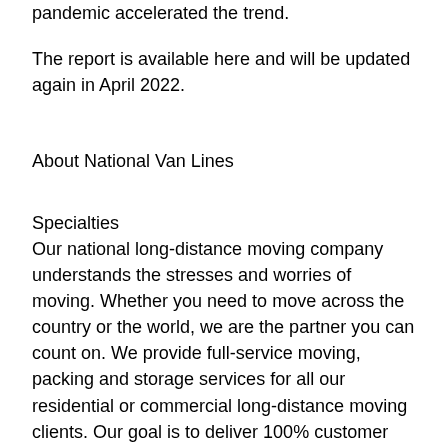pandemic accelerated the trend.
The report is available here and will be updated again in April 2022.
About National Van Lines
Specialties
Our national long-distance moving company understands the stresses and worries of moving. Whether you need to move across the country or the world, we are the partner you can count on. We provide full-service moving, packing and storage services for all our residential or commercial long-distance moving clients. Our goal is to deliver 100% customer satisfaction in all we do. Contact us or locate an agent for a Free moving quote on any of our moving services.
History
Established in 1929, National Van Lines is proud to have a history of service stretching back nearly 100